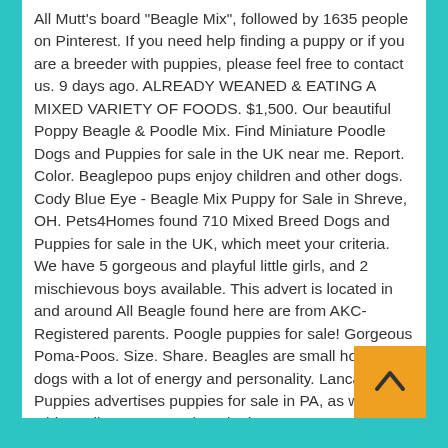All Mutt's board "Beagle Mix", followed by 1635 people on Pinterest. If you need help finding a puppy or if you are a breeder with puppies, please feel free to contact us. 9 days ago. ALREADY WEANED & EATING A MIXED VARIETY OF FOODS. $1,500. Our beautiful Poppy Beagle & Poodle Mix. Find Miniature Poodle Dogs and Puppies for sale in the UK near me. Report. Color. Beaglepoo pups enjoy children and other dogs. Cody Blue Eye - Beagle Mix Puppy for Sale in Shreve, OH. Pets4Homes found 710 Mixed Breed Dogs and Puppies for sale in the UK, which meet your criteria. We have 5 gorgeous and playful little girls, and 2 mischievous boys available. This advert is located in and around All Beagle found here are from AKC-Registered parents. Poogle puppies for sale! Gorgeous Poma-Poos. Size. Share. Beagles are small hound dogs with a lot of energy and personality. Lancaster Puppies advertises puppies for sale in PA, as well as Ohio, Indiana, New York and other states. Coat colors can be solid black or brown, or tri-colored with mixes of black, brown, white, gray & t... Poodle cross puppies for sale UK. 30+ days ago. £2... Copyright 1997 - 2019 Moo Limited. They will be ready...